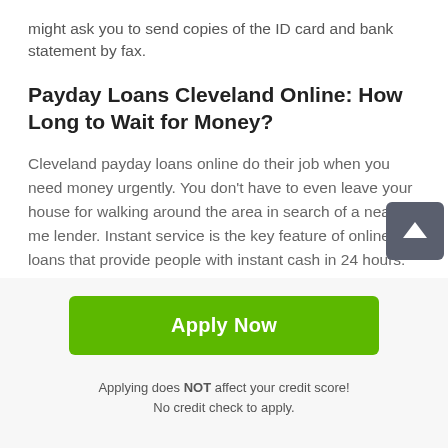might ask you to send copies of the ID card and bank statement by fax.
Payday Loans Cleveland Online: How Long to Wait for Money?
Cleveland payday loans online do their job when you need money urgently. You don't have to even leave your house for walking around the area in search of a near-me lender. Instant service is the key feature of online loans that provide people with instant cash in 24 hours. Nevertheless, some nuances might accelerate the process and reduce timeframe up to 15 minutes. So, what should a borrower do for this purpose?
[Figure (other): Green 'Apply Now' button]
Applying does NOT affect your credit score!
No credit check to apply.